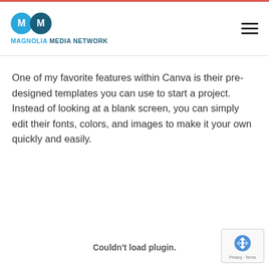[Figure (logo): Magnolia Media Network logo: two overlapping circles (light blue and dark blue) each with the letter M, above the text MAGNOLIA MEDIA NETWORK in bold dark blue]
One of my favorite features within Canva is their pre-designed templates you can use to start a project. Instead of looking at a blank screen, you can simply edit their fonts, colors, and images to make it your own quickly and easily.
Couldn't load plugin.